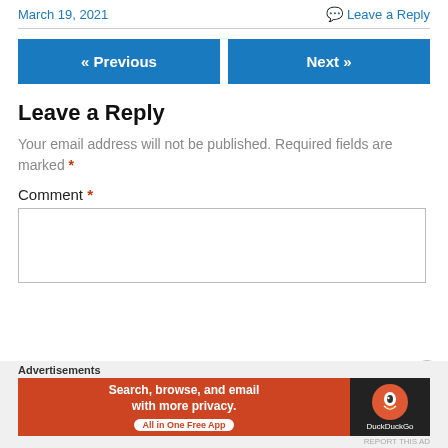March 19, 2021
Leave a Reply
« Previous
Next »
Leave a Reply
Your email address will not be published. Required fields are marked *
Comment *
[Figure (infographic): DuckDuckGo advertisement banner: orange background on left with text 'Search, browse, and email with more privacy. All in One Free App', dark background on right with DuckDuckGo duck logo and 'DuckDuckGo' label]